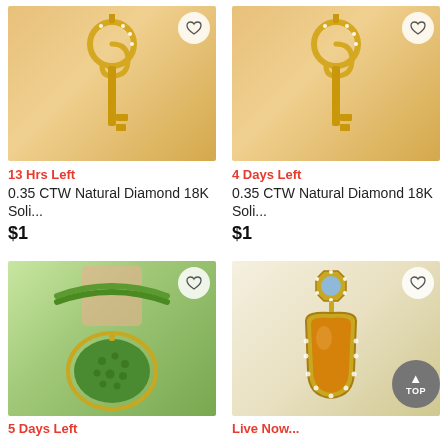[Figure (photo): Gold decorative key pendant necklace with spiral top and diamond accents on peach background]
13 Hrs Left
0.35 CTW Natural Diamond 18K Soli...
$1
[Figure (photo): Gold decorative key pendant necklace with spiral top and diamond accents on peach background]
4 Days Left
0.35 CTW Natural Diamond 18K Soli...
$1
[Figure (photo): Green jade oval pendant on green beaded necklace with diamond halo setting]
5 Days Left
[Figure (photo): Gold drop earrings with blue topaz halo top and teardrop orange stone pendant with diamond surround]